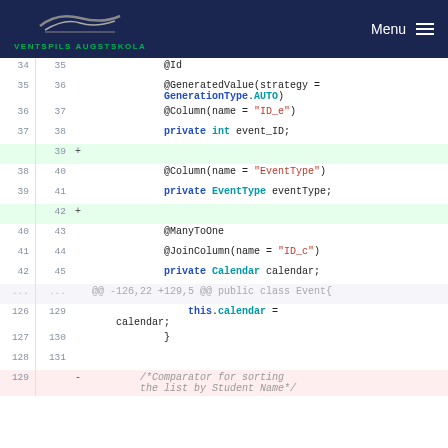VENTSPILS AUGSTSKOLA  Menu
[Figure (screenshot): Code diff view showing Java source code with line numbers, added lines highlighted in green and removed lines in pink. Shows annotations like @Id, @GeneratedValue, @Column, @ManyToOne, @JoinColumn, and fields event_ID, eventType, calendar.]